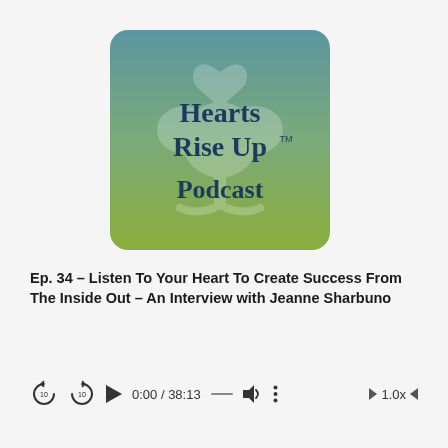[Figure (logo): Hearts Rise Up Podcast logo — square with rounded corners, gradient background from teal/blue-green at top to olive green at bottom, with a semi-transparent white tree and heart watermark, bold dark navy serif text reading 'Hearts Rise Up TM Podcast']
Ep. 34 – Listen To Your Heart To Create Success From The Inside Out – An Interview with Jeanne Sharbuno
0:00 / 38:13  1.0x